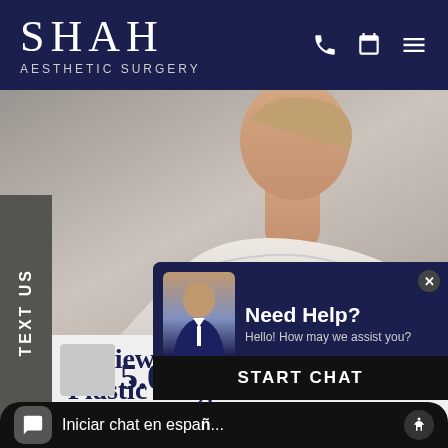SHAH AESTHETIC SURGERY
[Figure (photo): Profile photo of a woman showing her neck and shoulder, off-shoulder white top, gray background]
TEXT US
Reviews for Denver, CO Plastic Surgeon Dr. Manish Shah Rhinoplasty Procedures
[Figure (screenshot): Live chat widget overlay showing a customer service representative with 'Need Help? Hello! How may we assist you?' and a START CHAT button]
Iniciar chat en espa...